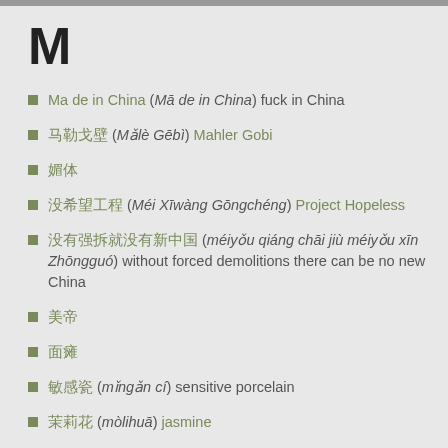M
Ma de in China (Mā de in China) fuck in China
马勒戈壁 (Mǎlè Gēbì) Mahler Gobi
媚体
没希望工程 (Méi Xīwàng Gōngchéng) Project Hopeless
没有强拆就没有新中国 (méiyǒu qiáng chāi jiù méiyǒu xīn Zhōngguó) without forced demolitions there can be no new China
美帝
面瘫
敏感瓷 (mǐngǎn cí) sensitive porcelain
茉莉花 (mòlihuā) jasmine
某黑帮 (mǒu hēibāng) certain gang